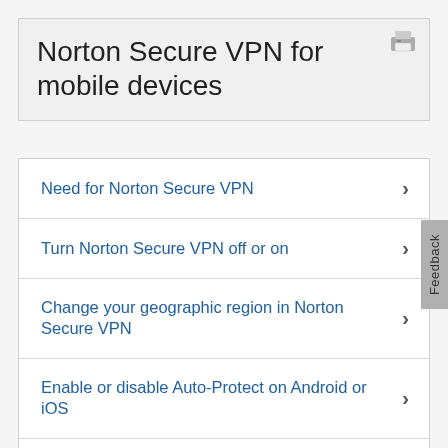Norton Secure VPN for mobile devices
Need for Norton Secure VPN
Turn Norton Secure VPN off or on
Change your geographic region in Norton Secure VPN
Enable or disable Auto-Protect on Android or iOS
Enable or disable Warnings on Android or iOS